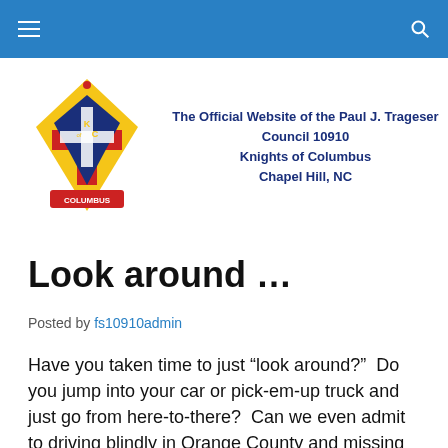Knights of Columbus - Paul J. Trageser Council 10910
[Figure (logo): Knights of Columbus shield logo with yellow/gold diamond shape, red cross, and KofC lettering]
The Official Website of the Paul J. Trageser Council 10910 Knights of Columbus Chapel Hill, NC
Look around …
Posted by fs10910admin
Have you taken time to just “look around?”  Do you jump into your car or pick-em-up truck and just go from here-to-there?  Can we even admit to driving blindly in Orange County and missing all of the things that are here for us?